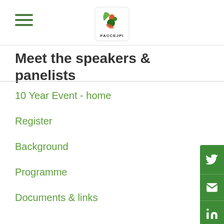FACCEJPI logo and hamburger menu
Meet the speakers & panelists
10 Year Event - home
Register
Background
Programme
Documents & links